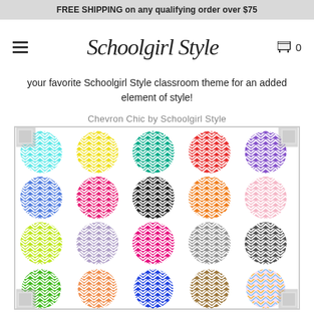FREE SHIPPING on any qualifying order over $75
[Figure (logo): Schoolgirl Style cursive/script logo with hamburger menu icon on left and shopping cart with '0' on right]
your favorite Schoolgirl Style classroom theme for an added element of style!
Chevron Chic by Schoolgirl Style
[Figure (illustration): Grid of 20 colorful chevron-patterned circles in a decorative frame with corner ornaments. Colors include cyan, yellow, teal/green, red, purple (row 1); blue, hot pink, black, orange, light pink (row 2); lime green, lavender/gray, magenta/pink, gray, dark gray (row 3); green, orange, blue, brown/tan, rainbow pastel (row 4).]